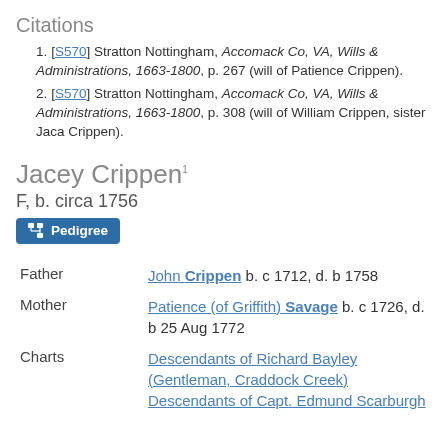Citations
1. [S570] Stratton Nottingham, Accomack Co, VA, Wills & Administrations, 1663-1800, p. 267 (will of Patience Crippen).
2. [S570] Stratton Nottingham, Accomack Co, VA, Wills & Administrations, 1663-1800, p. 308 (will of William Crippen, sister Jaca Crippen).
Jacey Crippen1
F, b. circa 1756
Pedigree
| Field | Value |
| --- | --- |
| Father | John Crippen b. c 1712, d. b 1758 |
| Mother | Patience (of Griffith) Savage b. c 1726, d. b 25 Aug 1772 |
| Charts | Descendants of Richard Bayley (Gentleman, Craddock Creek)
Descendants of Capt. Edmund Scarburgh |